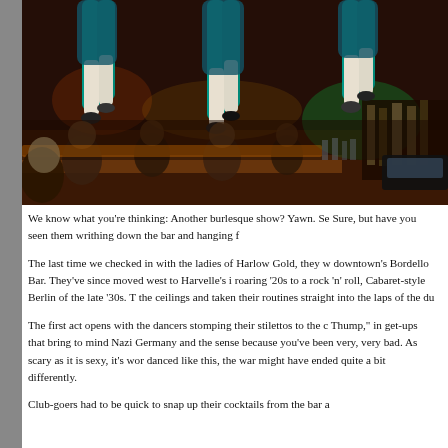[Figure (photo): Performers in a burlesque show hanging from or near the ceiling above a bar, wearing teal/green costumes with white stockings and heels. Crowded bar scene below with patrons and bartenders visible.]
We know what you're thinking: Another burlesque show? Yawn. Se Sure, but have you seen them writhing down the bar and hanging f
The last time we checked in with the ladies of Harlow Gold, they w downtown's Bordello Bar. They've since moved west to Harvelle's i roaring '20s to a rock 'n' roll, Cabaret-style Berlin of the late '30s. T the ceilings and taken their routines straight into the laps of the du
The first act opens with the dancers stomping their stilettos to the c Thump," in get-ups that bring to mind Nazi Germany and the sense because you've been very, very bad. As scary as it is sexy, it's wor danced like this, the war might have ended quite a bit differently.
Club-goers had to be quick to snap up their cocktails from the bar a